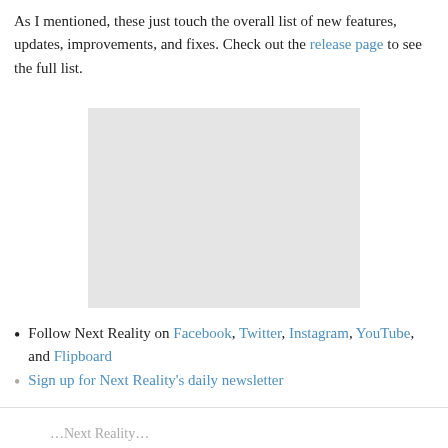As I mentioned, these just touch the overall list of new features, updates, improvements, and fixes. Check out the release page to see the full list.
[Figure (other): Gray placeholder image block]
Follow Next Reality on Facebook, Twitter, Instagram, YouTube, and Flipboard
Sign up for Next Reality's daily newsletter